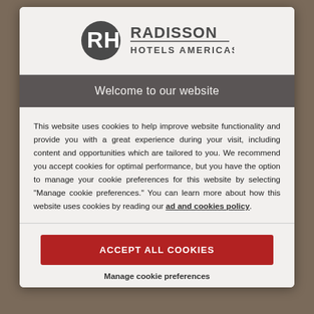[Figure (logo): Radisson Hotels Americas logo with RH circular icon]
Welcome to our website
This website uses cookies to help improve website functionality and provide you with a great experience during your visit, including content and opportunities which are tailored to you. We recommend you accept cookies for optimal performance, but you have the option to manage your cookie preferences for this website by selecting "Manage cookie preferences." You can learn more about how this website uses cookies by reading our ad and cookies policy.
ACCEPT ALL COOKIES
Manage cookie preferences